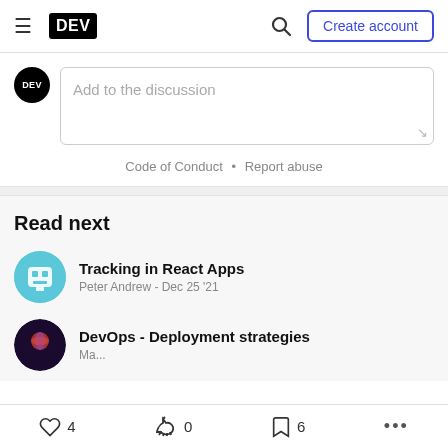DEV — Create account
Add to the discussion
Code of Conduct • Report abuse
Read next
Tracking in React Apps
Peter Andrew - Dec 25 '21
DevOps - Deployment strategies
4  0  6  ...